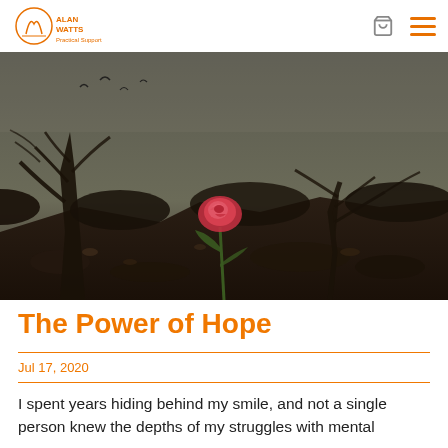Alan Watts - Practical Support
[Figure (photo): A single red rose growing from dark rocky soil against a moody, dark stormy sky with bare twisted trees in the background]
The Power of Hope
Jul 17, 2020
I spent years hiding behind my smile, and not a single person knew the depths of my struggles with mental